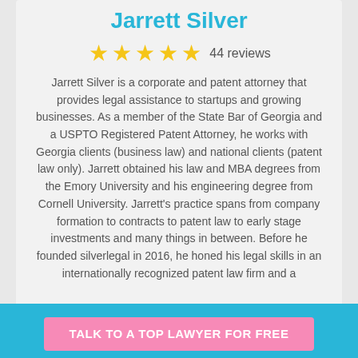Jarrett Silver
44 reviews
Jarrett Silver is a corporate and patent attorney that provides legal assistance to startups and growing businesses. As a member of the State Bar of Georgia and a USPTO Registered Patent Attorney, he works with Georgia clients (business law) and national clients (patent law only). Jarrett obtained his law and MBA degrees from the Emory University and his engineering degree from Cornell University. Jarrett's practice spans from company formation to contracts to patent law to early stage investments and many things in between. Before he founded silverlegal in 2016, he honed his legal skills in an internationally recognized patent law firm and a multinational company.
TALK TO A TOP LAWYER FOR FREE